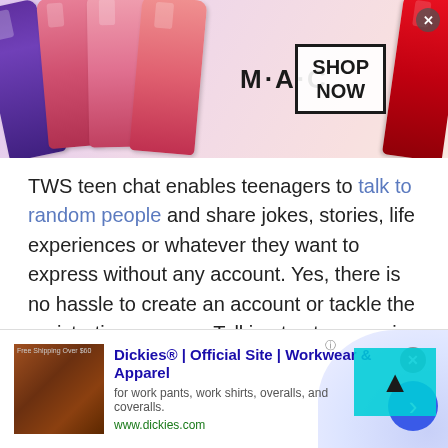[Figure (photo): MAC cosmetics advertisement banner showing colorful lipsticks arranged on the left side, MAC logo text in the center, and a 'SHOP NOW' box on the right with a close button.]
TWS teen chat enables teenagers to talk to random people and share jokes, stories, life experiences or whatever they want to express without any account. Yes, there is no hassle to create an account or tackle the registration process. Talking to strangers in Paraguay for teens is extremely fun and absolutely free.

Teen chat helps all girls and boys to express their emotions, share suggestions or opinions and do what to get out of boredom. You can join TWS to...
[Figure (screenshot): Dickies® Official Site advertisement showing a Dickies product photo on the left, ad text in the center with title 'Dickies® | Official Site | Workwear & Apparel', description 'for work pants, work shirts, overalls, and coveralls.' and URL 'www.dickies.com', and a blue circle arrow button on the right with a lavender background.]